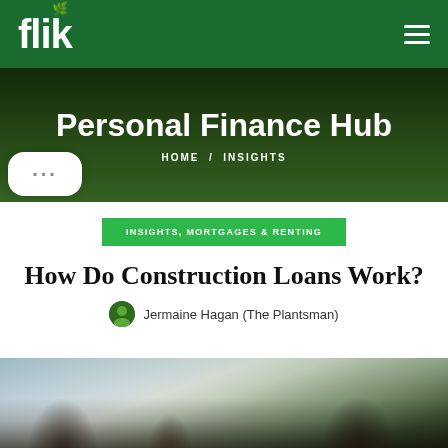flik
Personal Finance Hub
HOME / INSIGHTS
INSIGHTS, MORTGAGES & RENTING
How Do Construction Loans Work?
Jermaine Hagan (The Plantsman)
[Figure (photo): Two people in construction site attire including a person in a white hard hat reviewing documents with another person in a dark suit, outdoors with bare trees in background]